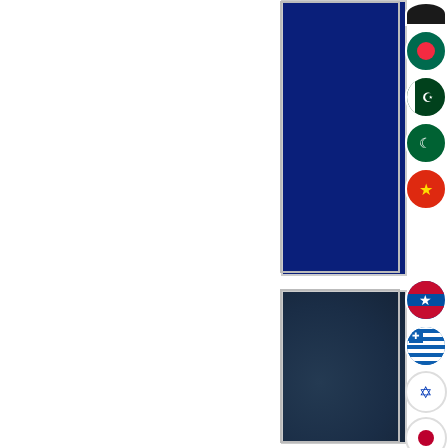[Figure (infographic): Three panel layout with dark blue and navy blue rectangular panels on the right side of the page. Each panel is accompanied by a vertical column of circular country flag icons on the far right. Panel 1 (top): dark navy/royal blue background. Flags visible: Bangladesh, Pakistan, unknown flag with crescent, China. Panel 2 (middle): dark slate blue background with subtle texture. Flags visible: North Korea or similar, Greece, Israel, Japan, Hungary/Netherlands, Albania/Eagle emblem. Panel 3 (bottom): royal blue background. Flags visible: Iran, Poland, Romania, Vietnam, Sweden, South Africa.]